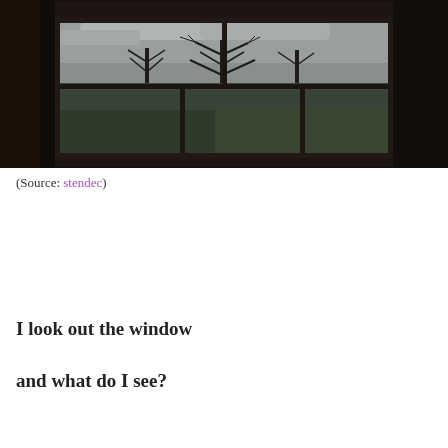[Figure (photo): Dark interior photograph looking out through a window at a landscape with bare trees, fields, and an overcast sky. The room interior is very dark with dark curtains/walls framing the window.]
(Source: stendec)
I look out the window
and what do I see?